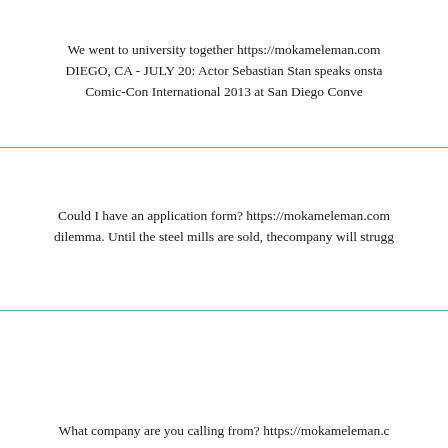We went to university together https://mokameleman.com DIEGO, CA - JULY 20: Actor Sebastian Stan speaks onsta Comic-Con International 2013 at San Diego Conve
Could I have an application form? https://mokameleman.com dilemma. Until the steel mills are sold, thecompany will strugg
What company are you calling from? https://mokameleman.c